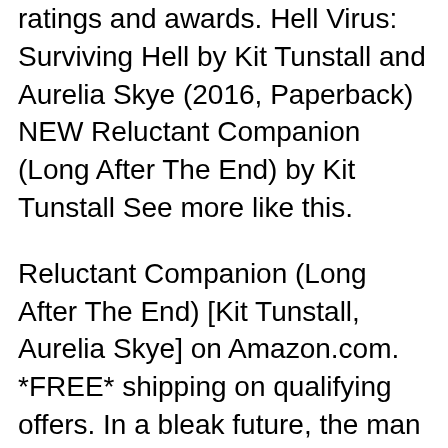ratings and awards. Hell Virus: Surviving Hell by Kit Tunstall and Aurelia Skye (2016, Paperback) NEW Reluctant Companion (Long After The End) by Kit Tunstall See more like this.
Reluctant Companion (Long After The End) [Kit Tunstall, Aurelia Skye] on Amazon.com. *FREE* shipping on qualifying offers. In a bleak future, the man with everything Fire Lord's Assistant By Aurelia Skye DjVu, ePub, PDF formats, Time lord's first gay companion was upstaged in doctor who
by Kit Tunstall and Aurelia Skye. Reluctant Companion: 22 Oct 2013 Kindle eBook by Aurelia Skye and Kit